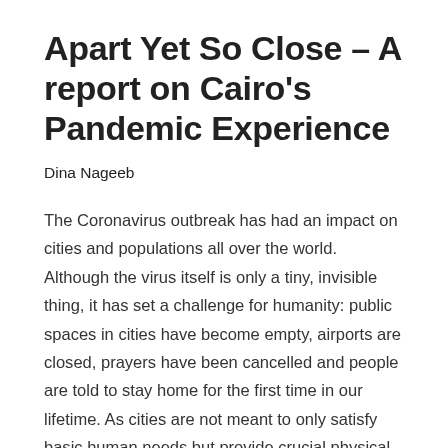Apart Yet So Close – A report on Cairo's Pandemic Experience
Dina Nageeb
The Coronavirus outbreak has had an impact on cities and populations all over the world. Although the virus itself is only a tiny, invisible thing, it has set a challenge for humanity: public spaces in cities have become empty, airports are closed, prayers have been cancelled and people are told to stay home for the first time in our lifetime. As cities are not meant to only satisfy basic human needs but provide crucial physical and social